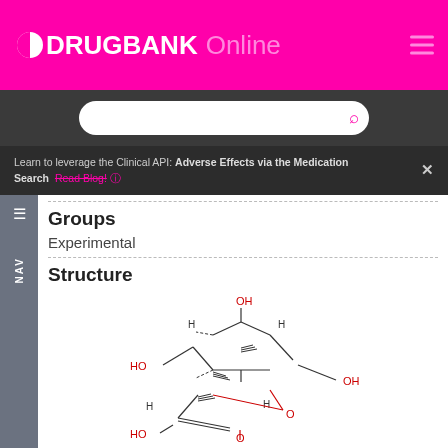DRUGBANK Online
Groups
Experimental
Structure
[Figure (illustration): 2D chemical structure of a sugar molecule showing OH groups, HO groups, H atoms, and an O in ring. Carbon skeleton with stereochemistry dashes and wedges.]
2D   Similar Structures